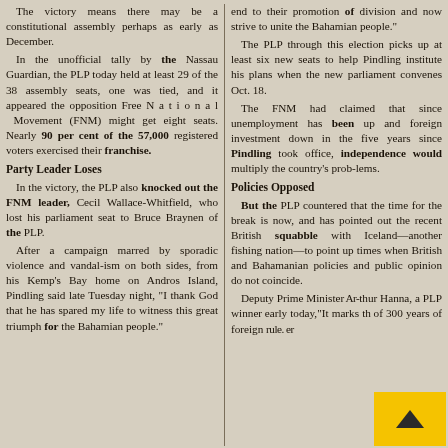The victory means there may be a constitutional assembly perhaps as early as December. In the unofficial tally by the Nassau Guardian, the PLP today held at least 29 of the 38 assembly seats, one was tied, and it appeared the opposition Free National Movement (FNM) might get eight seats. Nearly 90 per cent of the 57,000 registered voters exercised their franchise.
Party Leader Loses
In the victory, the PLP also knocked out the FNM leader, Cecil Wallace-Whitfield, who lost his parliament seat to Bruce Braynen of the PLP. After a campaign marred by sporadic violence and vandalism on both sides, from his Kemp's Bay home on Andros Island, Pindling said late Tuesday night, "I thank God that he has spared my life to witness this great triumph for the Bahamian people."
end to their promotion of division and now strive to unite the Bahamian people." The PLP through this election picks up at least six new seats to help Pindling institute his plans when the new parliament convenes Oct. 18. The FNM had claimed that since unemployment has been up and foreign investment down in the five years since Pindling took office, independence would multiply the country's problems.
Policies Opposed
But the PLP countered that the time for the break is now, and has pointed out the recent British squabble with Iceland—another fishing nation—to point up times when British and Bahamanian policies and public opinion do not coincide. Deputy Prime Minister Ar thur Hanna, a PLP winner early today,"It marks t of 300 years of foreign rule. er